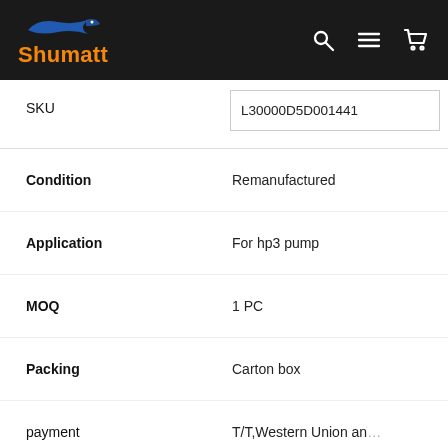Shumatt
| Field | Value |
| --- | --- |
| SKU | L30000D5D001441 |
| Condition | Remanufactured |
| Application | For hp3 pump |
| MOQ | 1 PC |
| Packing | Carton box |
| payment | T/T,Western Union an |